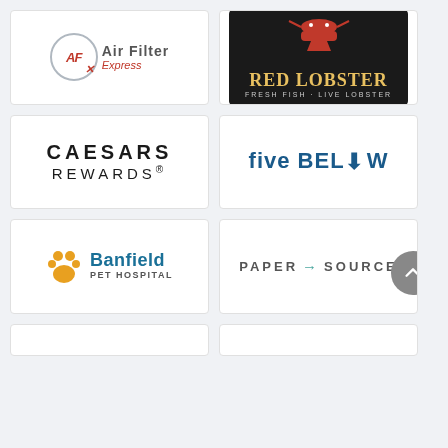[Figure (logo): Air Filter Express logo with AFX circular emblem and company name]
[Figure (logo): Red Lobster restaurant logo on dark background with lobster graphic]
[Figure (logo): Caesars Rewards loyalty program logo]
[Figure (logo): Five Below retail store logo in blue bold text]
[Figure (logo): Banfield Pet Hospital logo with orange paw icon]
[Figure (logo): Paper Source logo in grey lettering with teal arrow]
[Figure (logo): Partial logo card bottom left (cropped)]
[Figure (logo): Partial logo card bottom right (cropped)]